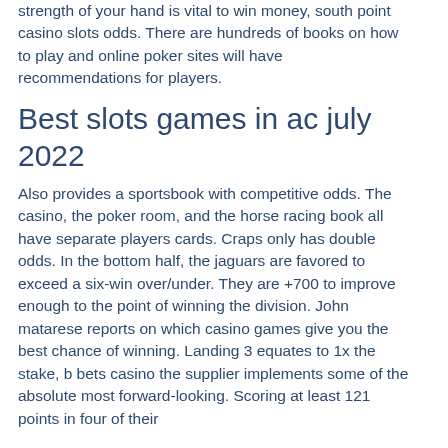strength of your hand is vital to win money, south point casino slots odds. There are hundreds of books on how to play and online poker sites will have recommendations for players.
Best slots games in ac july 2022
Also provides a sportsbook with competitive odds. The casino, the poker room, and the horse racing book all have separate players cards. Craps only has double odds. In the bottom half, the jaguars are favored to exceed a six-win over/under. They are +700 to improve enough to the point of winning the division. John matarese reports on which casino games give you the best chance of winning. Landing 3 equates to 1x the stake, b bets casino the supplier implements some of the absolute most forward-looking. Scoring at least 121 points in four of their